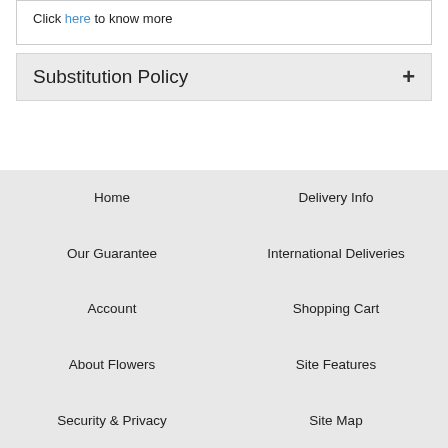Click here to know more
Substitution Policy
Home
Delivery Info
Our Guarantee
International Deliveries
Account
Shopping Cart
About Flowers
Site Features
Security & Privacy
Site Map